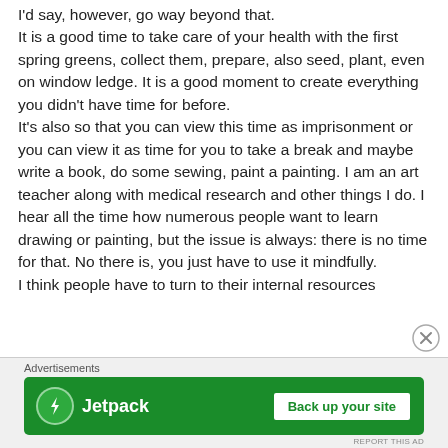I'd say, however, go way beyond that. It is a good time to take care of your health with the first spring greens, collect them, prepare, also seed, plant, even on window ledge. It is a good moment to create everything you didn't have time for before. It's also so that you can view this time as imprisonment or you can view it as time for you to take a break and maybe write a book, do some sewing, paint a painting. I am an art teacher along with medical research and other things I do. I hear all the time how numerous people want to learn drawing or painting, but the issue is always: there is no time for that. No there is, you just have to use it mindfully. I think people have to turn to their internal resources
[Figure (other): Jetpack advertisement banner with green background, Jetpack logo (lightning bolt in circle), brand name 'Jetpack', and a 'Back up your site' call-to-action button]